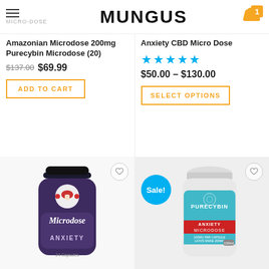MUNGUS
Amazonian Microdose 200mg Purecybin Microdose (20)
$137.00 $69.99
ADD TO CART
Anxiety CBD Micro Dose
$50.00 – $130.00
SELECT OPTIONS
[Figure (photo): Dark purple/black bottle labeled 'Microdose ANXIETY' with mushroom logo]
[Figure (photo): White and teal bottle labeled 'PURECYBIN ANXIETY MICRODOSE' with Sale! badge]